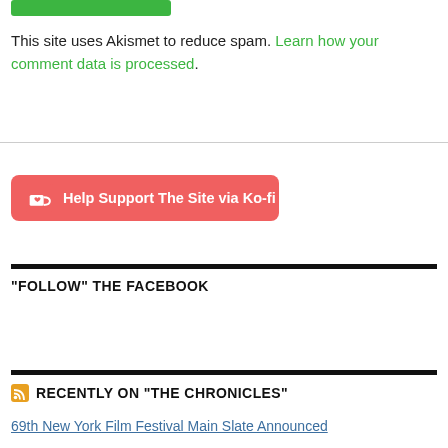[Figure (other): Green button/bar at top of page]
This site uses Akismet to reduce spam. Learn how your comment data is processed.
[Figure (other): Ko-fi support button with cup icon reading: Help Support The Site via Ko-fi]
"FOLLOW" THE FACEBOOK
RECENTLY ON "THE CHRONICLES"
69th New York Film Festival Main Slate Announced